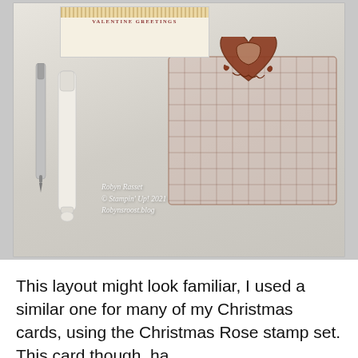[Figure (photo): Photo of crafting supplies including a heart rubber stamp on an acrylic block with grid lines, two blending tools/pens, and a card reading 'Valentine Greetings' with lace trim. Watermark reads: Robyn Rasset © Stampin' Up! 2021 Robynsroost.blog]
This layout might look familiar, I used a similar one for many of my Christmas cards, using the Christmas Rose stamp set. This card though, ha…